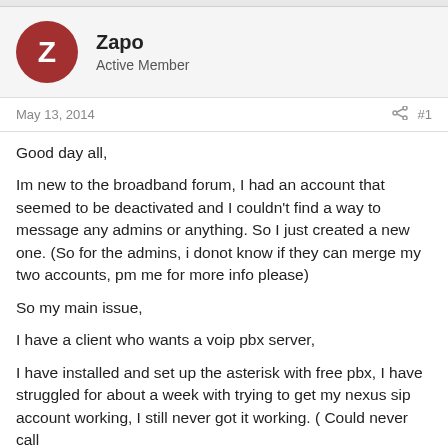[Figure (other): User avatar circle with letter Z in dark red]
Zapo
Active Member
May 13, 2014
#1
Good day all,

Im new to the broadband forum, I had an account that seemed to be deactivated and I couldn't find a way to message any admins or anything. So I just created a new one. (So for the admins, i donot know if they can merge my two accounts, pm me for more info please)

So my main issue,

I have a client who wants a voip pbx server,

I have installed and set up the asterisk with free pbx, I have struggled for about a week with trying to get my nexus sip account working, I still never got it working. ( Could never call